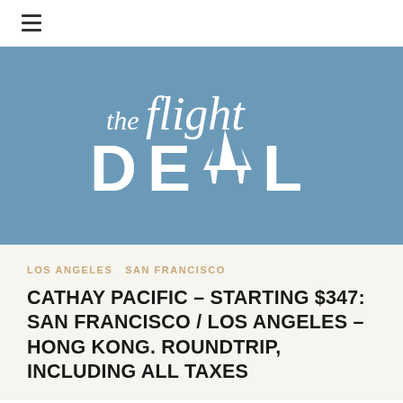≡
[Figure (logo): The Flight Deal logo — white text on blue background with airplane silhouette forming the 'A' in DEAL]
LOS ANGELES  SAN FRANCISCO
CATHAY PACIFIC – STARTING $347: SAN FRANCISCO / LOS ANGELES – HONG KONG. ROUNDTRIP, INCLUDING ALL TAXES